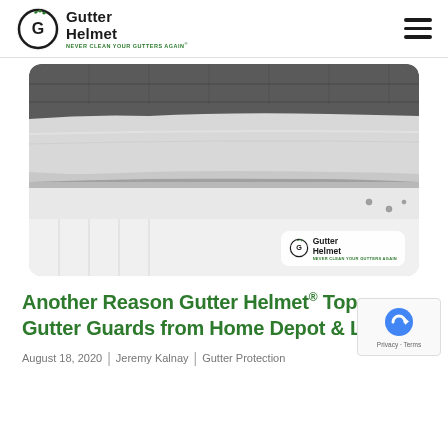Gutter Helmet — NEVER CLEAN YOUR GUTTERS AGAIN®
[Figure (photo): Close-up photo of a Gutter Helmet gutter guard installed on a home, showing the curved protective panel over a white gutter with roof shingles visible above. A Gutter Helmet logo watermark appears in the lower-right corner of the image.]
Another Reason Gutter Helmet® Tops Gutter Guards from Home Depot & Lowe's
August 18, 2020  |  Jeremy Kalnay  |  Gutter Protection